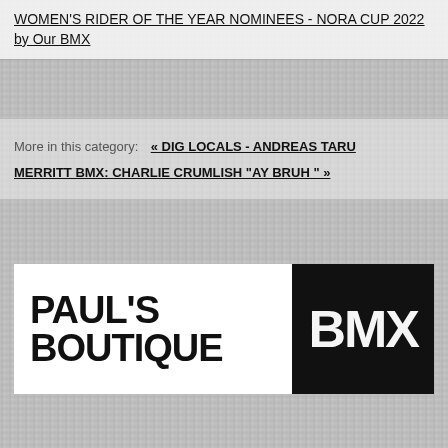WOMEN'S RIDER OF THE YEAR NOMINEES - NORA CUP 2022 by Our BMX
More in this category:
« DIG LOCALS - ANDREAS TARU
MERRITT BMX: CHARLIE CRUMLISH "AY BRUH " »
back to top
[Figure (logo): Paul's Boutique BMX logo — white background with bold black text reading PAUL'S BOUTIQUE and black box with white text BMX]